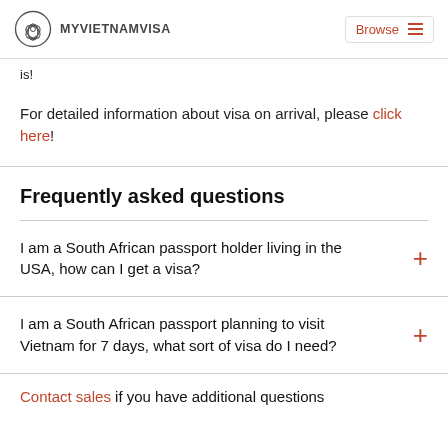MYVIETNAMVISA | Browse
is!
For detailed information about visa on arrival, please click here!
Frequently asked questions
I am a South African passport holder living in the USA, how can I get a visa?
I am a South African passport planning to visit Vietnam for 7 days, what sort of visa do I need?
Contact sales if you have additional questions